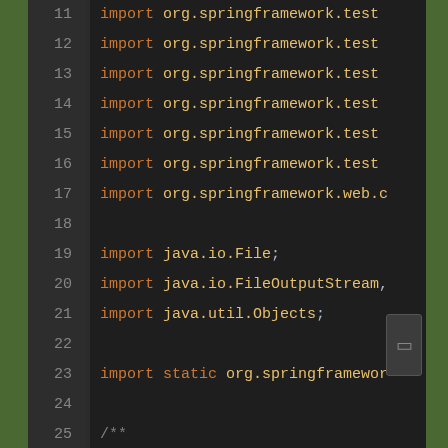[Figure (screenshot): Code editor screenshot showing Java source file lines 11-30. Lines 11-17 show import statements for org.springframework.test and org.springframework.web packages (text cut off at right edge). Line 18 is blank. Lines 19-21 show java.io.File, java.io.FileOutputStream, and java.util.Objects imports. Line 22 is blank. Line 23 shows import static org.springframework... (cut off). Line 24 is blank. Lines 25-28 show a Javadoc comment block with @author kdyzm and @date 2021/12/20. Lines 29-30 show @Slf4j and @RunWith(SpringRunner.class) annotations. A scrollbar indicator appears on the right side near lines 27-28.]